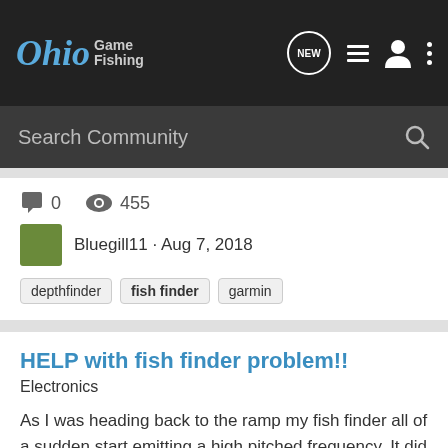Ohio Game Fishing
Search Community
0   455  Bluegill11 · Aug 7, 2018  depthfinder  fish finder  garmin
HELP with fish finder problem!!
Electronics
As I was heading back to the ramp my fish finder all of a sudden start emitting a high pitched frequency. It did not stop even when I powered it down! I never had that happen before, was that a way of saying the battery feed is too low or WHAT? It only stopped when I turned the motor off...
8   1K